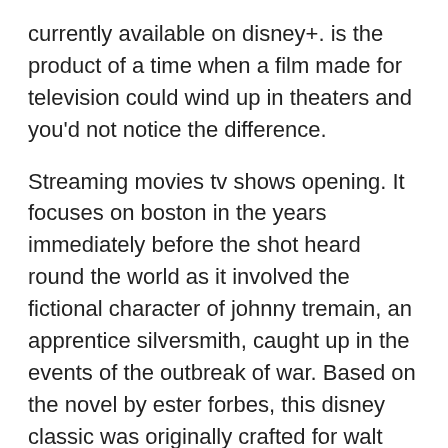currently available on disney+. is the product of a time when a film made for television could wind up in theaters and you'd not notice the difference.
Streaming movies tv shows opening. It focuses on boston in the years immediately before the shot heard round the world as it involved the fictional character of johnny tremain, an apprentice silversmith, caught up in the events of the outbreak of war. Based on the novel by ester forbes, this disney classic was originally crafted for walt disney presents in two segments, which have been blended into a single film for viewing.
1957 nr 1h 20m dvd. After dumping british tea in the harbor, the sons of liberty march and sing through the streets of boston in disney's johnny tremain. starring hal stalmast. This film, johnny tremain, is one of disney's tributes to the